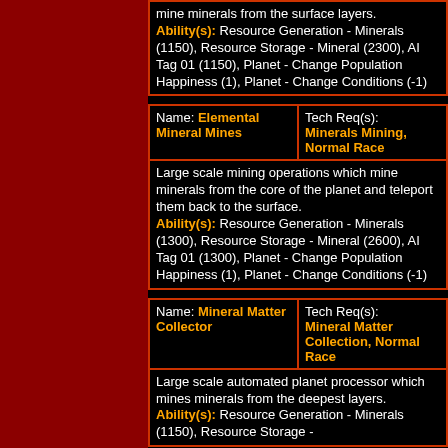mine minerals from the surface layers. Ability(s): Resource Generation - Minerals (1150), Resource Storage - Mineral (2300), AI Tag 01 (1150), Planet - Change Population Happiness (1), Planet - Change Conditions (-1)
| Name: Elemental Mineral Mines | Tech Req(s): Minerals Mining, Normal Race |
| --- | --- |
| Large scale mining operations which mine minerals from the core of the planet and teleport them back to the surface. Ability(s): Resource Generation - Minerals (1300), Resource Storage - Mineral (2600), AI Tag 01 (1300), Planet - Change Population Happiness (1), Planet - Change Conditions (-1) |  |
| Name: Mineral Matter Collector | Tech Req(s): Mineral Matter Collection, Normal Race |
| --- | --- |
| Large scale automated planet processor which mines minerals from the deepest layers. Ability(s): Resource Generation - Minerals (1150), Resource Storage - |  |